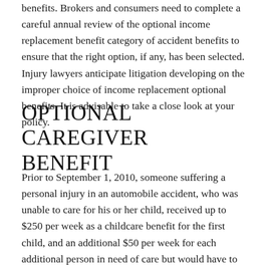benefits. Brokers and consumers need to complete a careful annual review of the optional income replacement benefit category of accident benefits to ensure that the right option, if any, has been selected. Injury lawyers anticipate litigation developing on the improper choice of income replacement optional benefits. It is advisable to take a close look at your policy.
OPTIONAL CAREGIVER BENEFIT
Prior to September 1, 2010, someone suffering a personal injury in an automobile accident, who was unable to care for his or her child, received up to $250 per week as a childcare benefit for the first child, and an additional $50 per week for each additional person in need of care but would have to choose either income benefits or caregiver benefits, not both). This benefit was eliminated entirely,